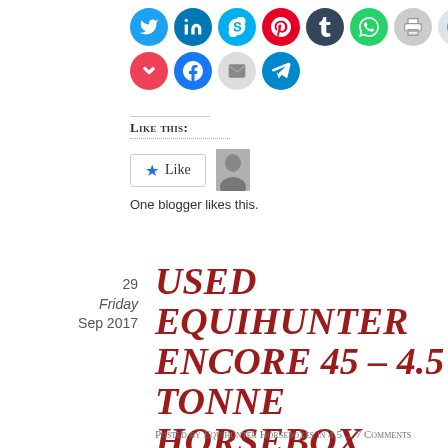[Figure (screenshot): Social sharing icon buttons in two rows: Twitter (blue), LinkedIn (blue), Skype (blue), Pinterest (red), Tumblr (dark navy), WhatsApp (green), Print (light gray), Reddit (light blue/gray) in first row; Pocket (red), Facebook (blue), Email (gray), Telegram (blue) in second row.]
Like this:
[Figure (screenshot): WordPress Like button widget showing a star Like button and a blogger avatar thumbnail. Text reads: One blogger likes this.]
One blogger likes this.
29
Friday
Sep 2017
USED EQUIHUNTER ENCORE 45 – 4.5 TONNE HORSEBOX FOR SALE
Posted by Equihunter Horseboxes in 4.5 ... 7 Comments